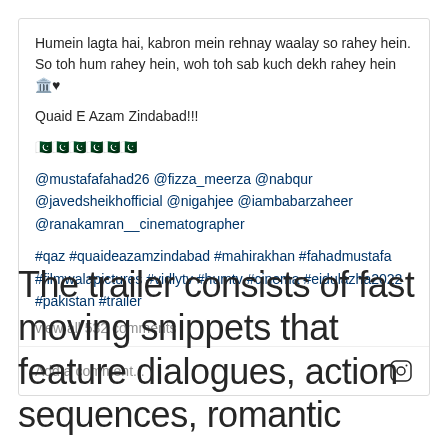Humein lagta hai, kabron mein rehnay waalay so rahey hein. So toh hum rahey hein, woh toh sab kuch dekh rahey hein 🏛️♥
Quaid E Azam Zindabad!!!
🇵🇰🇵🇰🇵🇰🇵🇰🇵🇰🇵🇰
@mustafafahad26 @fizza_meerza @nabqur @javedsheikhofficial @nigahjee @iambabarzaheer @ranakamran__cinematographer
#qaz #quaideazamzindabad #mahirakhan #fahadmustafa #filmwalapictures #vidlytv #humtv #cinema #eidulazha2022 #pakistan #trailer
view all 532 comments
Add a comment...
The trailer consists of fast moving snippets that feature dialogues, action sequences, romantic